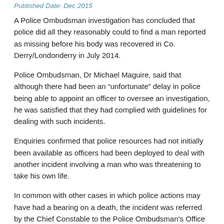Published Date: Dec 2015
A Police Ombudsman investigation has concluded that police did all they reasonably could to find a man reported as missing before his body was recovered in Co. Derry/Londonderry in July 2014.
Police Ombudsman, Dr Michael Maguire, said that although there had been an “unfortunate” delay in police being able to appoint an officer to oversee an investigation, he was satisfied that they had complied with guidelines for dealing with such incidents.
Enquiries confirmed that police resources had not initially been available as officers had been deployed to deal with another incident involving a man who was threatening to take his own life.
In common with other cases in which police actions may have had a bearing on a death, the incident was referred by the Chief Constable to the Police Ombudsman’s Office for independent investigation.
Police Ombudsman investigators examined relevant police records, and obtained accounts from all of the officers who had been initially